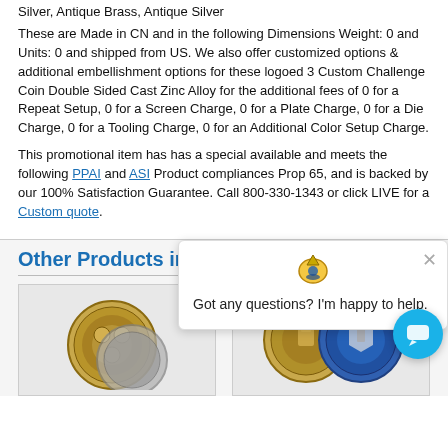Silver, Antique Brass, Antique Silver
These are Made in CN and in the following Dimensions Weight: 0 and Units: 0 and shipped from US. We also offer customized options & additional embellishment options for these logoed 3 Custom Challenge Coin Double Sided Cast Zinc Alloy for the additional fees of 0 for a Repeat Setup, 0 for a Screen Charge, 0 for a Plate Charge, 0 for a Die Charge, 0 for a Tooling Charge, 0 for an Additional Color Setup Charge.
This promotional item has has a special available and meets the following PPAI and ASI Product compliances Prop 65, and is backed by our 100% Satisfaction Guarantee. Call 800-330-1343 or click LIVE for a Custom quote.
Other Products in
[Figure (photo): Challenge coin product thumbnail left]
[Figure (photo): Chat popup with logo, close button, and message: Got any questions? I'm happy to help.]
[Figure (photo): Challenge coin product thumbnail right, two coins visible]